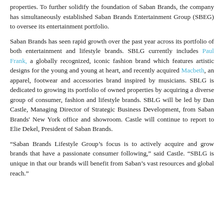properties. To further solidify the foundation of Saban Brands, the company has simultaneously established Saban Brands Entertainment Group (SBEG) to oversee its entertainment portfolio.
Saban Brands has seen rapid growth over the past year across its portfolio of both entertainment and lifestyle brands. SBLG currently includes Paul Frank, a globally recognized, iconic fashion brand which features artistic designs for the young and young at heart, and recently acquired Macbeth, an apparel, footwear and accessories brand inspired by musicians. SBLG is dedicated to growing its portfolio of owned properties by acquiring a diverse group of consumer, fashion and lifestyle brands. SBLG will be led by Dan Castle, Managing Director of Strategic Business Development, from Saban Brands' New York office and showroom. Castle will continue to report to Elie Dekel, President of Saban Brands.
“Saban Brands Lifestyle Group’s focus is to actively acquire and grow brands that have a passionate consumer following,” said Castle. “SBLG is unique in that our brands will benefit from Saban’s vast resources and global reach.”